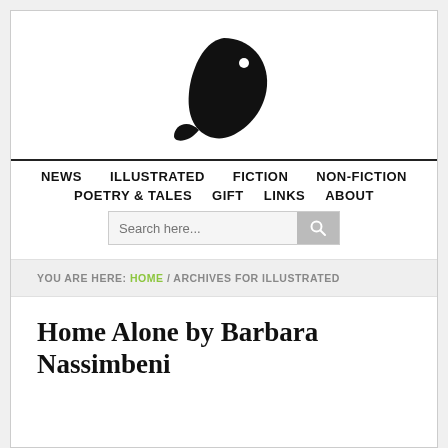[Figure (logo): Black stylized bird/leaf logo shape on white background]
NEWS  ILLUSTRATED  FICTION  NON-FICTION  POETRY & TALES  GIFT  LINKS  ABOUT
Search here...
YOU ARE HERE: HOME / ARCHIVES FOR ILLUSTRATED
Home Alone by Barbara Nassimbeni